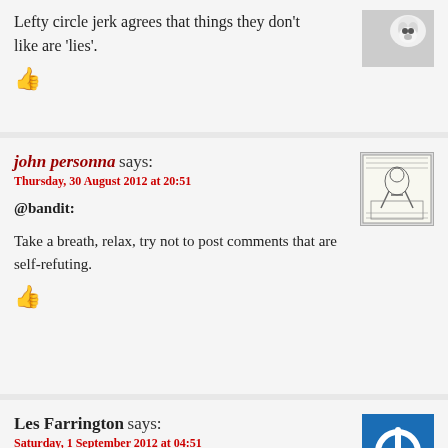Lefty circle jerk agrees that things they don't like are 'lies'.
👍
john personna says:
Thursday, 30 August 2012 at 20:51
[Figure (illustration): Small avatar image of a historical engraving showing a figure seated at a desk]
@bandit:
Take a breath, relax, try not to post comments that are self-refuting.
👍
Les Farrington says:
Saturday, 1 September 2012 at 04:51
[Figure (illustration): Blue square avatar with a white power button icon]
i just found this website and it didnt take long to